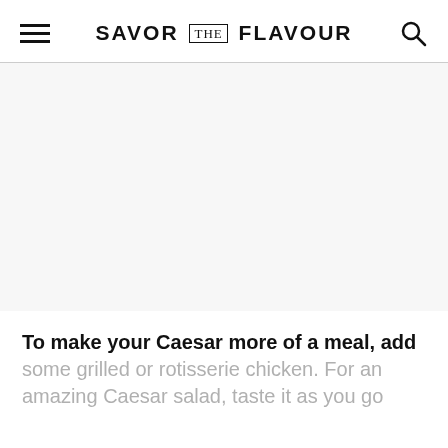SAVOR THE FLAVOUR
[Figure (photo): Large empty/white image placeholder area below the site header navigation]
To make your Caesar more of a meal, add some grilled or rotisserie chicken.  For an amazing Caesar salad, taste it as you go